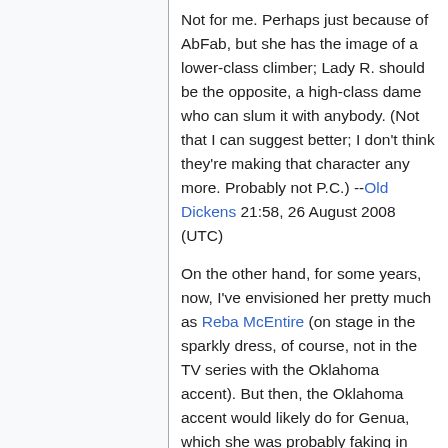Not for me. Perhaps just because of AbFab, but she has the image of a lower-class climber; Lady R. should be the opposite, a high-class dame who can slum it with anybody. (Not that I can suggest better; I don't think they're making that character any more. Probably not P.C.) --Old Dickens 21:58, 26 August 2008 (UTC)
On the other hand, for some years, now, I've envisioned her pretty much as Reba McEntire (on stage in the sparkly dress, of course, not in the TV series with the Oklahoma accent). But then, the Oklahoma accent would likely do for Genua, which she was probably faking in Night Watch. --Old Dickens 04:11, 2 August 2009 (UTC)
Titl